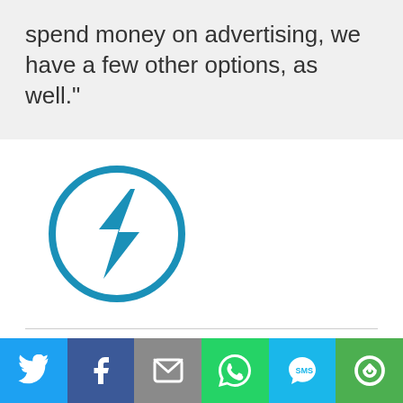spend money on advertising, we have a few other options, as well."
[Figure (logo): Teal/blue circular icon with a stylized lightning bolt (S-shape) inside]
Blog
Facebook Dollar A Day
Power Hour
[Figure (infographic): Social sharing bar with 6 buttons: Twitter (blue bird), Facebook (dark blue f), Email (grey envelope), WhatsApp (green phone), SMS (light blue SMS bubble), Other (green circular arrows)]